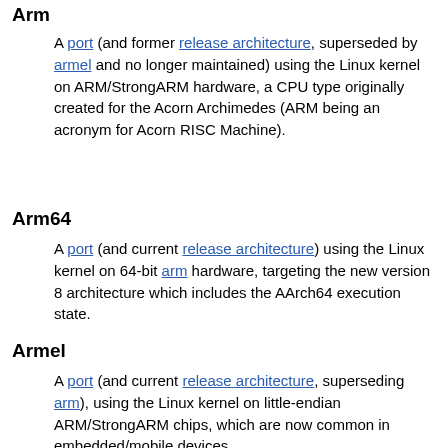Arm
A port (and former release architecture, superseded by armel and no longer maintained) using the Linux kernel on ARM/StrongARM hardware, a CPU type originally created for the Acorn Archimedes (ARM being an acronym for Acorn RISC Machine).
Arm64
A port (and current release architecture) using the Linux kernel on 64-bit arm hardware, targeting the new version 8 architecture which includes the AArch64 execution state.
Armel
A port (and current release architecture, superseding arm), using the Linux kernel on little-endian ARM/StrongARM chips, which are now common in embedded/mobile devices.